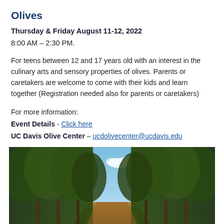Olives
Thursday & Friday August 11-12, 2022
8:00 AM – 2:30 PM.
For teens between 12 and 17 years old with an interest in the culinary arts and sensory properties of olives. Parents or caretakers are welcome to come with their kids and learn together (Registration needed also for parents or caretakers)
For more information:
Event Details - Click here
UC Davis Olive Center – ucdolivecenter@ucdavis.edu
[Figure (photo): An olive orchard with rows of olive trees lining a dirt path, with blue sky visible above.]